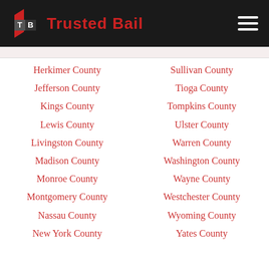[Figure (logo): Trusted Bail logo with red T and B letters and white hamburger menu on dark background]
Herkimer County
Sullivan County
Jefferson County
Tioga County
Kings County
Tompkins County
Lewis County
Ulster County
Livingston County
Warren County
Madison County
Washington County
Monroe County
Wayne County
Montgomery County
Westchester County
Nassau County
Wyoming County
New York County
Yates County